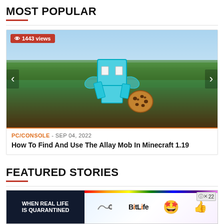MOST POPULAR
[Figure (screenshot): Minecraft screenshot showing an Allay mob (blue cubic creature with wings) holding a cookie, standing on a grassy field. Shows 1443 views badge top-left, left/right navigation arrows on sides.]
PC/CONSOLE - Sep 04, 2022
How To Find And Use The Allay Mob In Minecraft 1.19
FEATURED STORIES
[Figure (screenshot): Advertisement banner: left dark portion with text 'WHEN REAL LIFE IS QUARANTINED' in bold white, right lighter portion showing BitLife logo with rainbow and emoji icons, close button top right with number 22.]